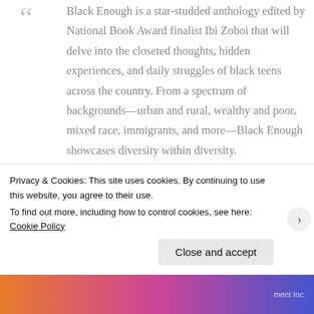Black Enough is a star-studded anthology edited by National Book Award finalist Ibi Zoboi that will delve into the closeted thoughts, hidden experiences, and daily struggles of black teens across the country. From a spectrum of backgrounds—urban and rural, wealthy and poor, mixed race, immigrants, and more—Black Enough showcases diversity within diversity.
Whether it's New York Times bestselling
Privacy & Cookies: This site uses cookies. By continuing to use this website, you agree to their use.
To find out more, including how to control cookies, see here: Cookie Policy
Close and accept